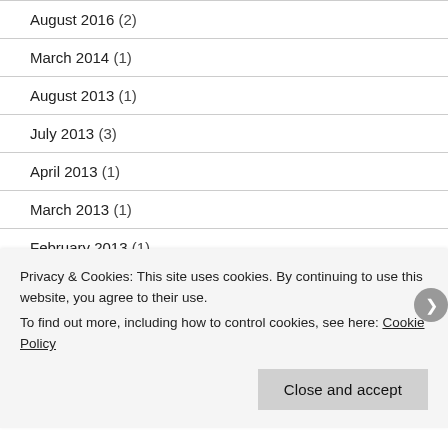August 2016 (2)
March 2014 (1)
August 2013 (1)
July 2013 (3)
April 2013 (1)
March 2013 (1)
February 2013 (1)
December 2012 (2)
Privacy & Cookies: This site uses cookies. By continuing to use this website, you agree to their use.
To find out more, including how to control cookies, see here: Cookie Policy
Close and accept